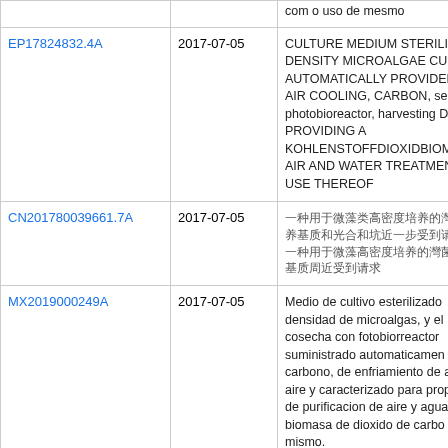| Patent Number | Date | Description |
| --- | --- | --- |
|  |  | com o uso de mesmo |
| EP17824832.4A | 2017-07-05 | CULTURE MEDIUM STERILIZ DENSITY MICROALGAE CULT AUTOMATICALLY PROVIDED AIR COOLING, CARBON, seal photobioreactor, harvesting D PROVIDING A KOHLENSTOFFDIOXIDBIOM AIR AND WATER TREATMEN USE THEREOF |
| CN201780039661.7A | 2017-07-05 | [Chinese characters] |
| MX2019000249A | 2017-07-05 | Medio de cultivo esterilizado densidad de microalgas, y el cosecha con fotobiorreactor suministrado automaticamen carbono, de enfriamiento de a aire y caracterizado para prop de purificacion de aire y agua biomasa de dioxido de carbo mismo. |
| US16/047,683 | 2018-07-27 | Culture medium sterilized for density culture, and the air co cooling, carbon dioxide auton sealed vertical photobioreact |